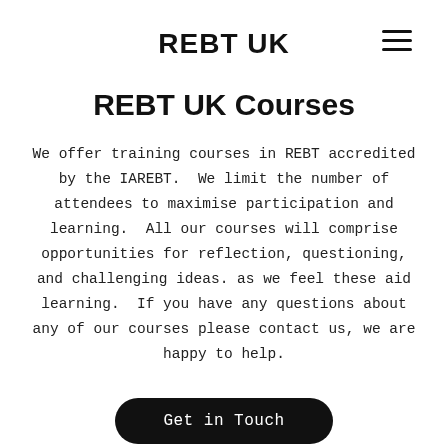REBT UK
REBT UK Courses
We offer training courses in REBT accredited by the IAREBT.  We limit the number of attendees to maximise participation and learning.  All our courses will comprise opportunities for reflection, questioning, and challenging ideas. as we feel these aid learning.  If you have any questions about any of our courses please contact us, we are happy to help.
Get in Touch